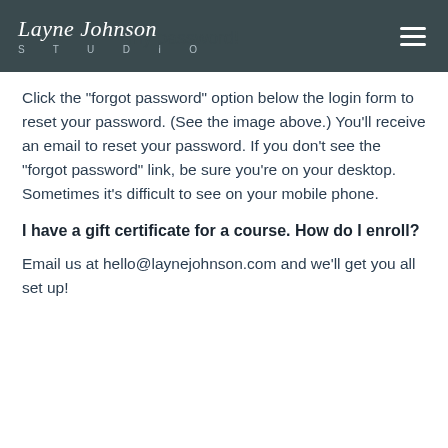Layne Johnson STUDIO
Click the "forgot password" option below the login form to reset your password. (See the image above.) You'll receive an email to reset your password. If you don't see the "forgot password" link, be sure you're on your desktop. Sometimes it's difficult to see on your mobile phone.
I have a gift certificate for a course. How do I enroll?
Email us at hello@laynejohnson.com and we'll get you all set up!